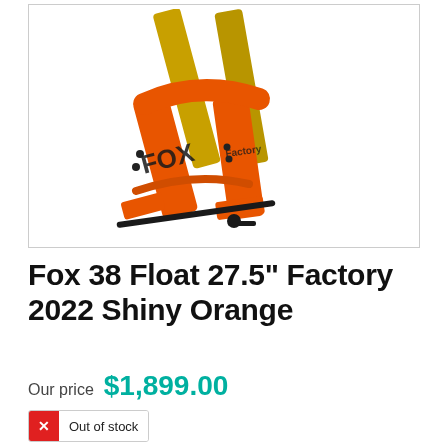[Figure (photo): Orange Fox 38 Float mountain bike suspension fork, shown at an angle against white background. Fork is bright orange with gold stanchions and black FOX branding.]
Fox 38 Float 27.5" Factory 2022 Shiny Orange
Our price $1,899.00
Out of stock